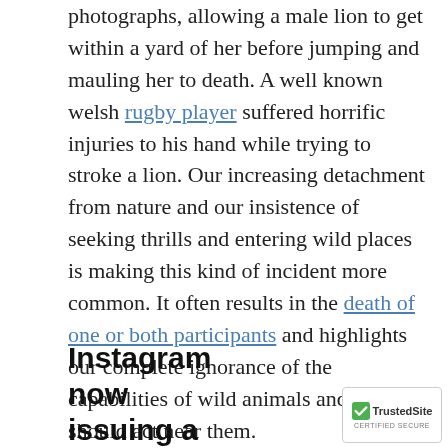photographs, allowing a male lion to get within a yard of her before jumping and mauling her to death. A well known welsh rugby player suffered horrific injuries to his hand while trying to stroke a lion. Our increasing detachment from nature and our insistence of seeking thrills and entering wild places is making this kind of incident more common. It often results in the death of one or both participants and highlights our complete ignorance of the capabilities of wild animals and how we should act near them.
Instagram now issuing a warning.